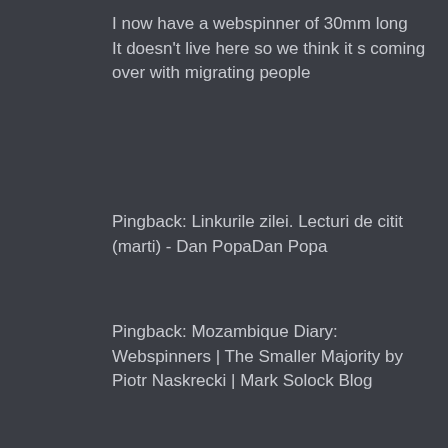I now have a webspinner of 30mm long
It doesn't live here so we think it s coming over with migrating people
Pingback: Linkurile zilei. Lecturi de citit (marti) - Dan PopaDan Popa
Pingback: Mozambique Diary: Webspinners | The Smaller Majority by Piotr Naskrecki | Mark Solock Blog